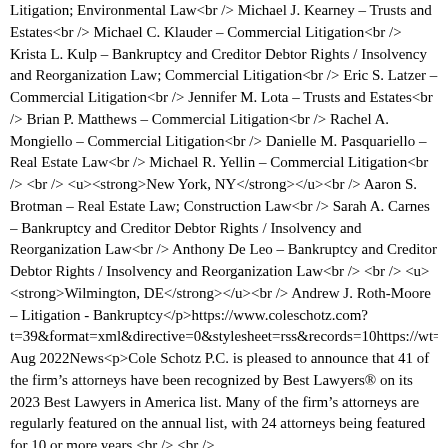Litigation; Environmental Law<br /> Michael J. Kearney &ndash; Trusts and Estates<br /> Michael C. Klauder &ndash; Commercial Litigation<br /> Krista L. Kulp &ndash; Bankruptcy and Creditor Debtor Rights / Insolvency and Reorganization Law; Commercial Litigation<br /> Eric S. Latzer &ndash; Commercial Litigation<br /> Jennifer M. Lota &ndash; Trusts and Estates<br /> Brian P. Matthews &ndash; Commercial Litigation<br /> Rachel A. Mongiello &ndash; Commercial Litigation<br /> Danielle M. Pasquariello &ndash; Real Estate Law<br /> Michael R. Yellin &ndash; Commercial Litigation<br /> <br /> <u><strong>New York, NY</strong></u><br /> Aaron S. Brotman &ndash; Real Estate Law; Construction Law<br /> Sarah A. Carnes &ndash; Bankruptcy and Creditor Debtor Rights / Insolvency and Reorganization Law<br /> Anthony De Leo &ndash; Bankruptcy and Creditor Debtor Rights / Insolvency and Reorganization Law<br /> <br /> <u><strong>Wilmington, DE</strong></u><br /> Andrew J. Roth-Moore &ndash; Litigation - Bankruptcy</p>https://www.coleschotz.com?t=39&format=xml&directive=0&stylesheet=rss&records=10https://wt=40&an=127662&format=xml&p=585818 Aug 2022News<p>Cole Schotz P.C. is pleased to announce that 41 of the firm&rsquo;s attorneys have been recognized by Best Lawyers&reg; on its 2023 Best Lawyers in America list. Many of the firm&rsquo;s attorneys are regularly featured on the annual list, with 24 attorneys being featured for 10 or more years.<br /> <br />